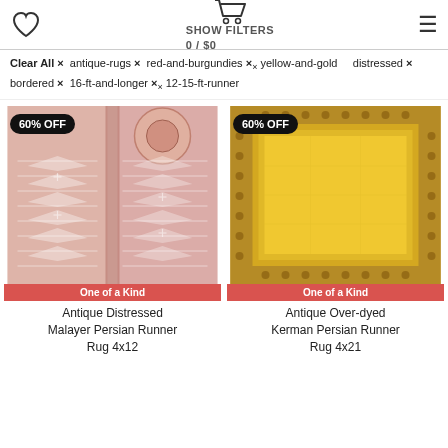SHOW FILTERS  0 / $0
Clear All × antique-rugs × red-and-burgundies × yellow-and-gold   distressed × bordered × 16-ft-and-longer × 12-15-ft-runner
[Figure (photo): Antique Distressed Malayer Persian Runner Rug with 60% OFF badge and One of a Kind label]
Antique Distressed Malayer Persian Runner Rug 4x12
[Figure (photo): Antique Over-dyed Kerman Persian Runner Rug with 60% OFF badge and One of a Kind label]
Antique Over-dyed Kerman Persian Runner Rug 4x21